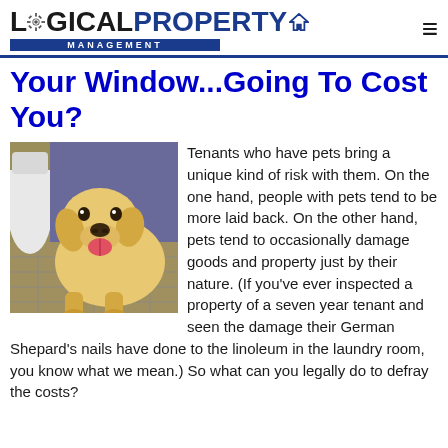Logical Property Management
Your Window...Going To Cost You?
[Figure (photo): A golden Labrador puppy standing on a tiled floor next to a toilet, looking at the camera with its mouth open.]
Tenants who have pets bring a unique kind of risk with them. On the one hand, people with pets tend to be more laid back. On the other hand, pets tend to occasionally damage goods and property just by their nature. (If you've ever inspected a property of a seven year tenant and seen the damage their German Shepard's nails have done to the linoleum in the laundry room, you know what we mean.) So what can you legally do to defray the costs?